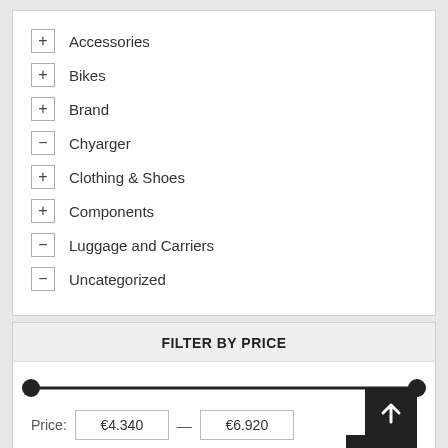+ Accessories
+ Bikes
+ Brand
− Chyarger
+ Clothing & Shoes
+ Components
− Luggage and Carriers
− Uncategorized
FILTER BY PRICE
Price: €4.340 — €6.920